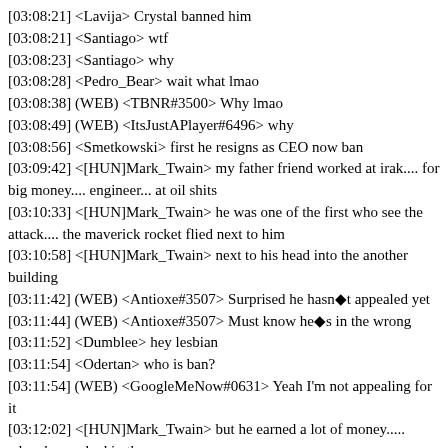[03:08:21] <Lavija> Crystal banned him
[03:08:21] <Santiago> wtf
[03:08:23] <Santiago> why
[03:08:28] <Pedro_Bear> wait what lmao
[03:08:38] (WEB) <TBNR#3500> Why lmao
[03:08:49] (WEB) <ItsJustAPlayer#6496> why
[03:08:56] <Smetkowski> first he resigns as CEO now ban
[03:09:42] <[HUN]Mark_Twain> my father friend worked at irak.... for big money.... engineer... at oil shits
[03:10:33] <[HUN]Mark_Twain> he was one of the first who see the attack.... the maverick rocket flied next to him
[03:10:58] <[HUN]Mark_Twain> next to his head into the another building
[03:11:42] (WEB) <Antioxe#3507> Surprised he hasn�t appealed yet
[03:11:44] (WEB) <Antioxe#3507> Must know he�s in the wrong
[03:11:52] <Dumblee> hey lesbian
[03:11:54] <Odertan> who is ban?
[03:11:54] (WEB) <GoogleMeNow#0631> Yeah I'm not appealing for it
[03:12:02] <[HUN]Mark_Twain> but he earned a lot of money..... when he worked in these area
[03:12:07] (WEB) <GoogleMeNow#0631> I'll take the ban crystal lmao